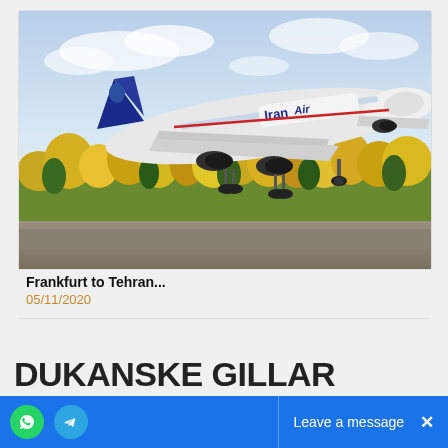[Figure (photo): Iran Air commercial airplane taking off from a runway with autumn trees in the background]
Frankfurt to Tehran...
05/11/2020
DUKANSKE GILLAR
Leave a message  ×